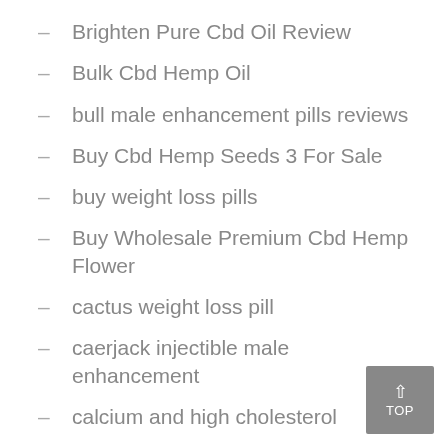Brighten Pure Cbd Oil Review
Bulk Cbd Hemp Oil
bull male enhancement pills reviews
Buy Cbd Hemp Seeds 3 For Sale
buy weight loss pills
Buy Wholesale Premium Cbd Hemp Flower
cactus weight loss pill
caerjack injectible male enhancement
calcium and high cholesterol